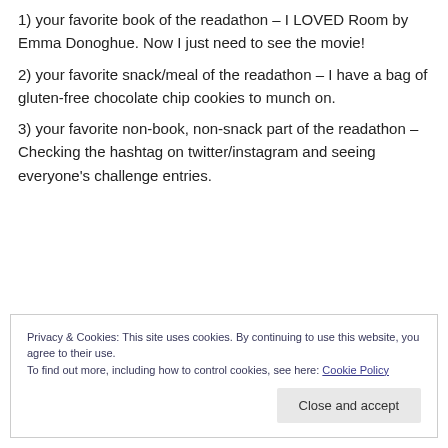1) your favorite book of the readathon – I LOVED Room by Emma Donoghue. Now I just need to see the movie!
2) your favorite snack/meal of the readathon – I have a bag of gluten-free chocolate chip cookies to munch on.
3) your favorite non-book, non-snack part of the readathon – Checking the hashtag on twitter/instagram and seeing everyone's challenge entries.
Privacy & Cookies: This site uses cookies. By continuing to use this website, you agree to their use. To find out more, including how to control cookies, see here: Cookie Policy
Close and accept